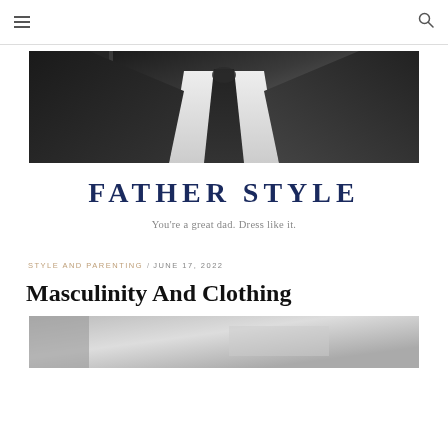≡  🔍
[Figure (photo): Black and white photo of a man in a dark suit, white dress shirt, and dark tie, cropped at the neck/shoulders area]
FATHER STYLE
You're a great dad. Dress like it.
STYLE AND PARENTING / JUNE 17, 2022
Masculinity And Clothing
[Figure (photo): Black and white photo, partially visible at bottom of page]